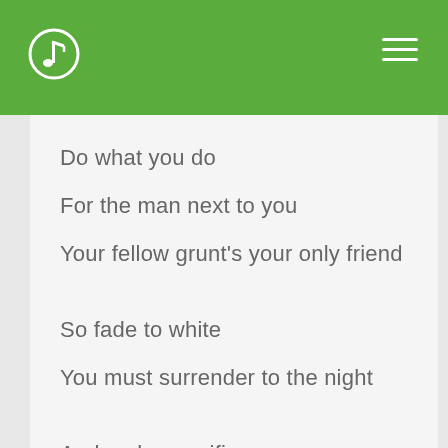Do what you do
For the man next to you
Your fellow grunt's your only friend
So fade to white
You must surrender to the night
And make sacrifice
Although this is your only life